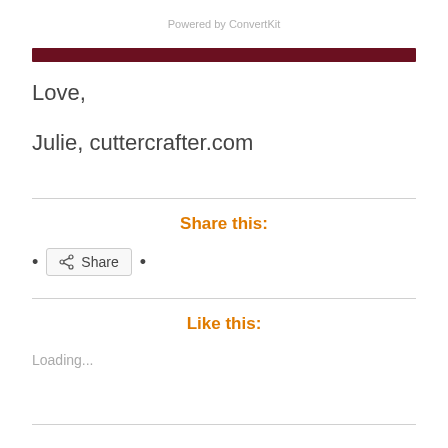Powered by ConvertKit
[Figure (other): Dark red/maroon horizontal bar divider]
Love,
Julie, cuttercrafter.com
Share this:
Share
Like this:
Loading...